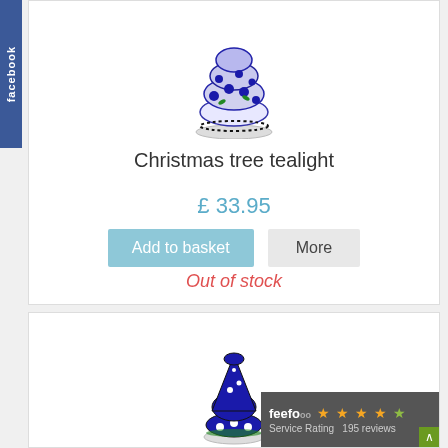[Figure (photo): Blue and white Polish pottery Christmas tree tealight holder with floral pattern, sitting on a small plate.]
Christmas tree tealight
£ 33.95
Add to basket | More
Out of stock
[Figure (photo): Blue and white Polish pottery Christmas tree figurine with polka dot pattern.]
[Figure (logo): Feefo Service Rating badge showing 4 stars and 195 reviews.]